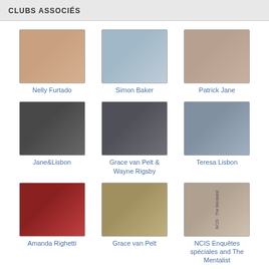CLUBS ASSOCIÉS
[Figure (photo): Nelly Furtado photo]
Nelly Furtado
[Figure (photo): Simon Baker photo]
Simon Baker
[Figure (photo): Patrick Jane photo]
Patrick Jane
[Figure (photo): Jane&Lisbon photo]
Jane&Lisbon
[Figure (photo): Grace van Pelt & Wayne Rigsby photo]
Grace van Pelt & Wayne Rigsby
[Figure (photo): Teresa Lisbon photo]
Teresa Lisbon
[Figure (photo): Amanda Righetti photo]
Amanda Righetti
[Figure (photo): Grace van Pelt photo]
Grace van Pelt
[Figure (photo): NCIS Enquêtes spéciales and The Mentalist photo]
NCIS Enquêtes spéciales and The Mentalist
plus de clubs >>
[Figure (advertisement): Nursery Rhymes for kids, kids songs advertisement banner]